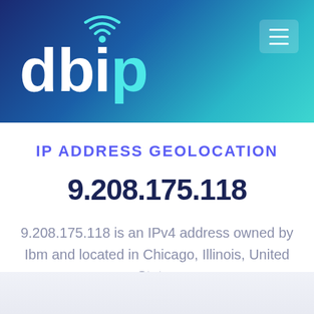[Figure (logo): db-ip logo with wifi signal icon, white text on blue-to-teal gradient header background]
IP ADDRESS GEOLOCATION
9.208.175.118
9.208.175.118 is an IPv4 address owned by Ibm and located in Chicago, Illinois, United States